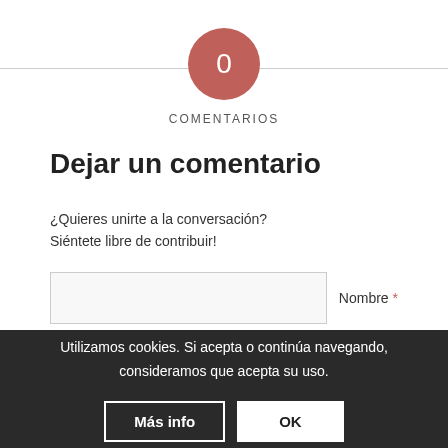[Figure (infographic): Red-pink circle badge with white number 0 in the center, sitting on a horizontal divider line]
COMENTARIOS
Dejar un comentario
¿Quieres unirte a la conversación?
Siéntete libre de contribuir!
Nombre *
Correo electrónico *
Utilizamos cookies. Si acepta o continúa navegando, consideramos que acepta su uso.